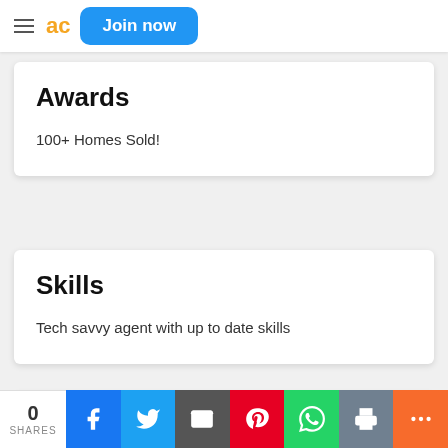Join now
Awards
100+ Homes Sold!
Skills
Tech savvy agent with up to date skills
Testimonials
0 SHARES